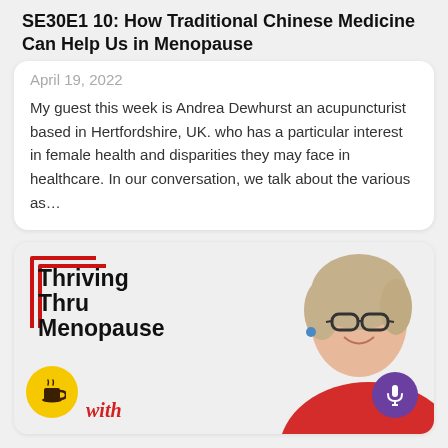SE30E1 10: How Traditional Chinese Medicine Can Help Us in Menopause
April 19, 2022
My guest this week is Andrea Dewhurst an acupuncturist based in Hertfordshire, UK. who has a particular interest in female health and disparities they may face in healthcare. In our conversation, we talk about the various as...
[Figure (photo): Podcast cover art for 'Thriving Thru Menopause' showing a smiling woman with short blonde hair and glasses wearing a red jacket, with red bracket decoration, a yellow coffee cup icon, and a purple microphone icon. Text reads 'Thriving Thru Menopause with'.]